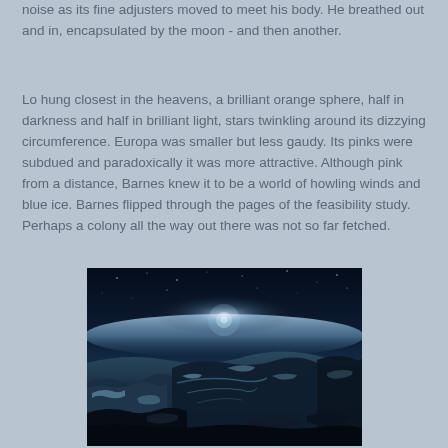noise as its fine adjusters moved to meet his body. He breathed out and in, encapsulated by the moon - and then another.
Lo hung closest in the heavens, a brilliant orange sphere, half in darkness and half in brilliant light, stars twinkling around its dizzying circumference. Europa was smaller but less gaudy. Its pinks were subdued and paradoxically it was more attractive. Although pink from a distance, Barnes knew it to be a world of howling winds and blue ice. Barnes flipped through the pages of the feasibility study. Perhaps a colony all the way out there was not so far fetched.
[Figure (photo): A dramatic space/planetary surface landscape viewed from ground level showing a rocky icy terrain in the foreground with a glowing bright star or sun on the horizon, atmospheric haze and blue-tinted light, dark sky above, resembling Europa or another icy moon surface.]